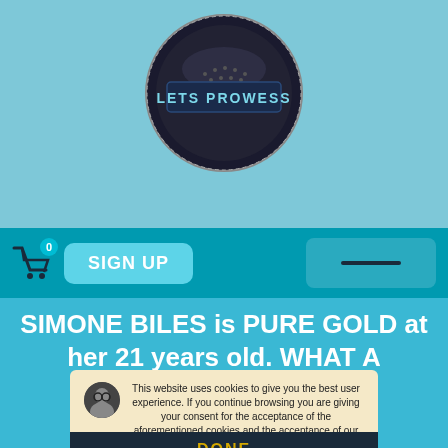[Figure (logo): LETS PROWESS circular logo with dark metallic background and light blue text on a rectangular badge]
[Figure (screenshot): Navigation bar with shopping cart icon showing 0 items, SIGN UP button in cyan, and hamburger/menu button on right]
SIMONE BILES is PURE GOLD at her 21 years old. WHAT A PROWESS SKILLS!
This website uses cookies to give you the best user experience. If you continue browsing you are giving your consent for the acceptance of the aforementioned cookies and the acceptance of our Privacy policy. | Terms and conditions of use.
DONE